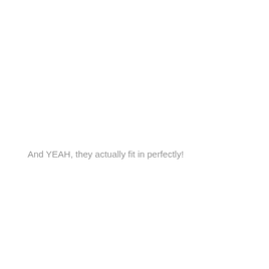And YEAH, they actually fit in perfectly!